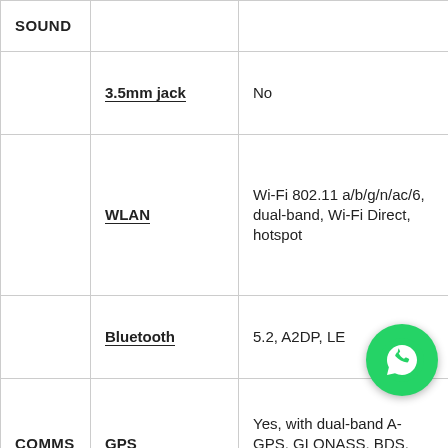| Category | Attribute | Value |
| --- | --- | --- |
| SOUND |  |  |
|  | 3.5mm jack | No |
|  | WLAN | Wi-Fi 802.11 a/b/g/n/ac/6, dual-band, Wi-Fi Direct, hotspot |
|  | Bluetooth | 5.2, A2DP, LE |
| COMMS | GPS | Yes, with dual-band A-GPS, GLONASS, BDS, GALILEO |
|  | NFC | Yes |
[Figure (logo): WhatsApp green circular button with phone handset icon]